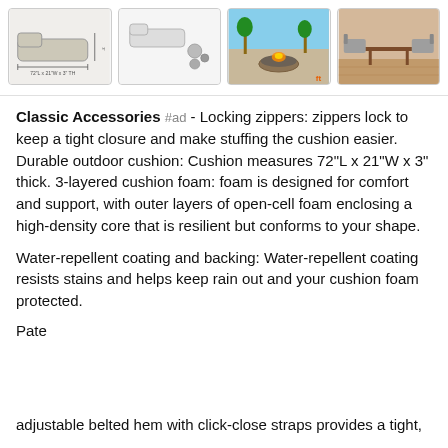[Figure (photo): Four thumbnail product images showing outdoor chaise lounge cushion dimensions diagram, cushion details diagram, outdoor patio scene with fire pit, and outdoor furniture set with coffee table]
Classic Accessories #ad - Locking zippers: zippers lock to keep a tight closure and make stuffing the cushion easier. Durable outdoor cushion: Cushion measures 72"L x 21"W x 3" thick. 3-layered cushion foam: foam is designed for comfort and support, with outer layers of open-cell foam enclosing a high-density core that is resilient but conforms to your shape.
Water-repellent coating and backing: Water-repellent coating resists stains and helps keep rain out and your cushion foam protected.
As an Amazon Associate I earn from qualifying purchases. This website uses the only necessary cookies to ensure you get the best experience on our website. More information
Pate adjustable belted hem with click-close straps provides a tight,